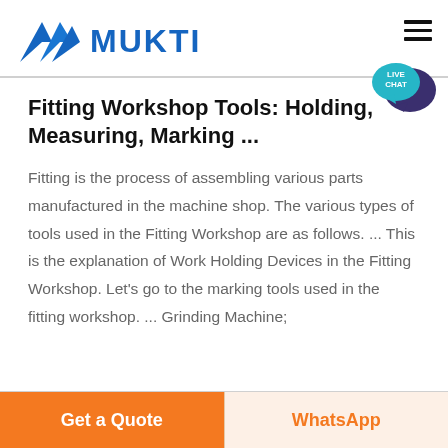MUKTI
Fitting Workshop Tools: Holding, Measuring, Marking ...
Fitting is the process of assembling various parts manufactured in the machine shop. The various types of tools used in the Fitting Workshop are as follows. ... This is the explanation of Work Holding Devices in the Fitting Workshop. Let's go to the marking tools used in the fitting workshop. ... Grinding Machine;
[Figure (logo): MUKTI logo with blue triangular mountain-like icon and blue bold text MUKTI]
Get a Quote
WhatsApp